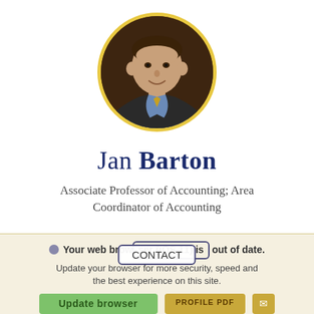[Figure (photo): Circular profile photo of Jan Barton with gold/yellow circular border, man in suit smiling]
Jan Barton
Associate Professor of Accounting; Area Coordinator of Accounting
Your web browser (iOS 11) is out of date. Update your browser for more security, speed and the best experience on this site.
CONTACT | Update browser | Ignore